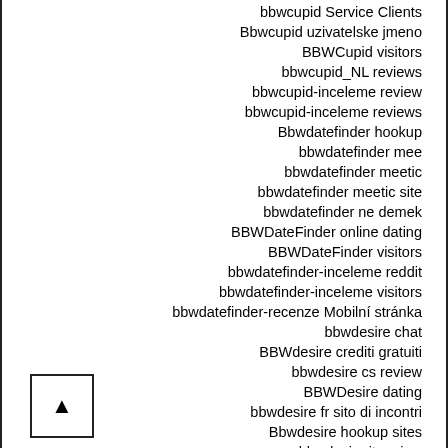bbwcupid Service Clients
Bbwcupid uzivatelske jmeno
BBWCupid visitors
bbwcupid_NL reviews
bbwcupid-inceleme review
bbwcupid-inceleme reviews
Bbwdatefinder hookup
bbwdatefinder mee
bbwdatefinder meetic
bbwdatefinder meetic site
bbwdatefinder ne demek
BBWDateFinder online dating
BBWDateFinder visitors
bbwdatefinder-inceleme reddit
bbwdatefinder-inceleme visitors
bbwdatefinder-recenze Mobilní stránka
bbwdesire chat
BBWdesire crediti gratuiti
bbwdesire cs review
BBWDesire dating
bbwdesire fr sito di incontri
Bbwdesire hookup sites
bbwdesire it review
bbwdesire it reviews
bbwdesire online dating
Bbwdesire profily
BBWDesire review